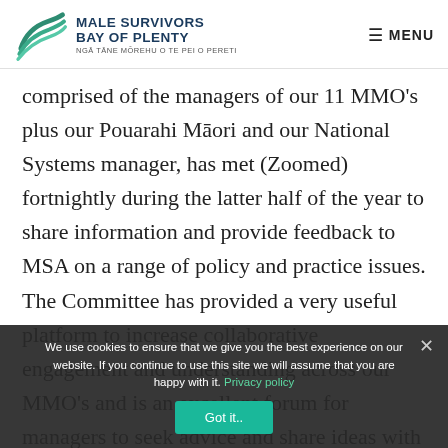MALE SURVIVORS BAY OF PLENTY — NGĀ TĀNE MŌREHU O TE PEI O PERETI — MENU
comprised of the managers of our 11 MMO's plus our Pouarahi Māori and our National Systems manager, has met (Zoomed) fortnightly during the latter half of the year to share information and provide feedback to MSA on a range of policy and practice issues. The Committee has provided a very useful platform to increase collaborative engagement and understanding across our MMO's and is an excellent forum for managers to seek advice and share ideas with their colleagues
We use cookies to ensure that we give you the best experience on our website. If you continue to use this site we will assume that you are happy with it. Privacy policy — Got it..